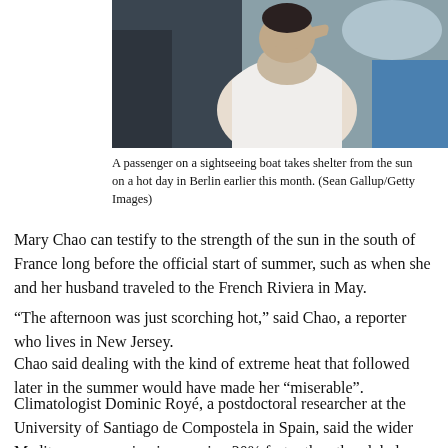[Figure (photo): A passenger on a sightseeing boat, wearing a white sleeveless top, shielding their face from the sun with their hand on a hot day in Berlin.]
A passenger on a sightseeing boat takes shelter from the sun on a hot day in Berlin earlier this month. (Sean Gallup/Getty Images)
Mary Chao can testify to the strength of the sun in the south of France long before the official start of summer, such as when she and her husband traveled to the French Riviera in May.
“The afternoon was just scorching hot,” said Chao, a reporter who lives in New Jersey.
Chao said dealing with the kind of extreme heat that followed later in the summer would have made her “miserable”.
Climatologist Dominic Royé, a postdoctoral researcher at the University of Santiago de Compostela in Spain, said the wider Mediterranean region is warming 20% faster than the global average.